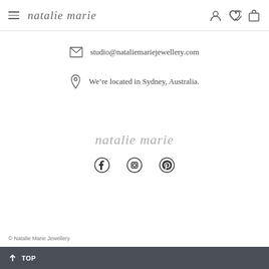natalie marie — navigation header with hamburger menu, brand name, and user/wishlist/cart icons
studio@nataliemariejewellery.com
We're located in Sydney, Australia.
[Figure (logo): natalie marie script logo in center of page]
[Figure (illustration): Social media icons: Facebook, Instagram, Pinterest]
© Natalie Marie Jewellery
↑ TOP